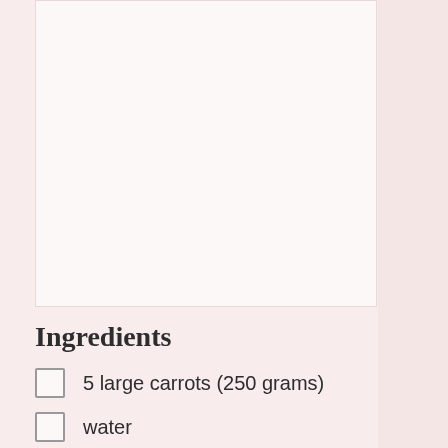[Figure (other): Large white/light pink blank rectangular area occupying the top portion of the page, likely a photo placeholder]
Ingredients
5 large carrots (250 grams)
water